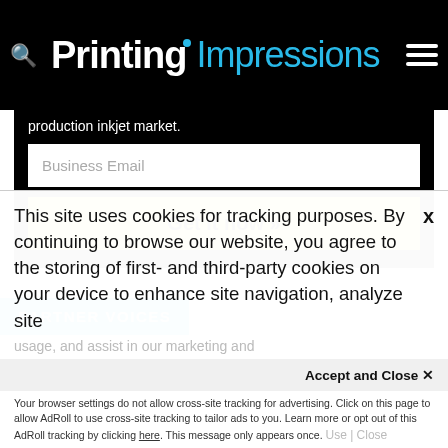Printing Impressions
production inkjet market.
Business Email
Get it now »
PARTNER VOICES
This site uses cookies for tracking purposes. By continuing to browse our website, you agree to the storing of first- and third-party cookies on your device to enhance site navigation, analyze site usage, and assist in our marketing and
Accept and Close ✕
Your browser settings do not allow cross-site tracking for advertising. Click on this page to allow AdRoll to use cross-site tracking to tailor ads to you. Learn more or opt out of this AdRoll tracking by clicking here. This message only appears once.